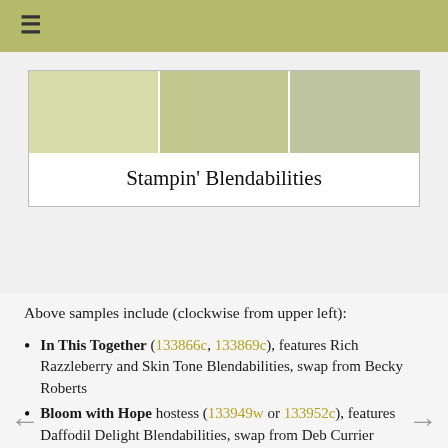≡
[Figure (photo): Banner image showing crafting card samples with title 'Stampin\' Blendabilities']
Above samples include (clockwise from upper left):
In This Together (133866c, 133869c), features Rich Razzleberry and Skin Tone Blendabilities, swap from Becky Roberts
Bloom with Hope hostess (133949w or 133952c), features Daffodil Delight Blendabilities, swap from Deb Currier
Blended Bloom (135906), features Pumpkin Pie Blendabilities